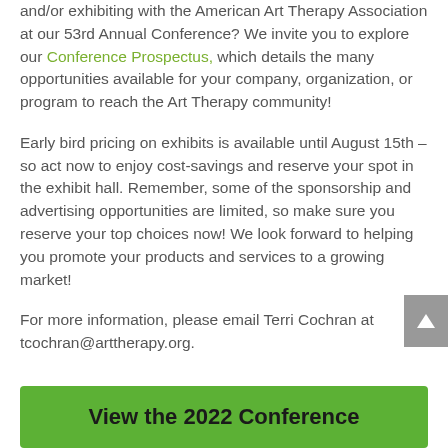and/or exhibiting with the American Art Therapy Association at our 53rd Annual Conference? We invite you to explore our Conference Prospectus, which details the many opportunities available for your company, organization, or program to reach the Art Therapy community!
Early bird pricing on exhibits is available until August 15th – so act now to enjoy cost-savings and reserve your spot in the exhibit hall. Remember, some of the sponsorship and advertising opportunities are limited, so make sure you reserve your top choices now! We look forward to helping you promote your products and services to a growing market!
For more information, please email Terri Cochran at tcochran@arttherapy.org.
View the 2022 Conference